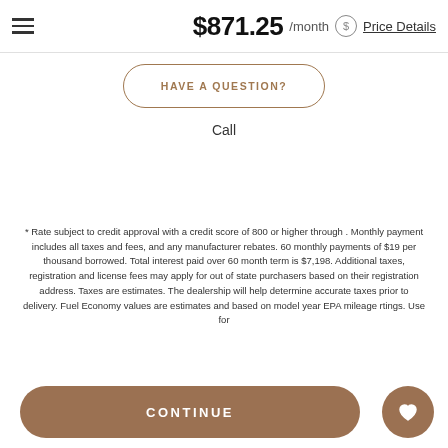$871.25 /month Price Details
HAVE A QUESTION?
Call
* Rate subject to credit approval with a credit score of 800 or higher through . Monthly payment includes all taxes and fees, and any manufacturer rebates. 60 monthly payments of $19 per thousand borrowed. Total interest paid over 60 month term is $7,198. Additional taxes, registration and license fees may apply for out of state purchasers based on their registration address. Taxes are estimates. The dealership will help determine accurate taxes prior to delivery. Fuel Economy values are estimates and based on model year EPA mileage rtings. Use for
CONTINUE